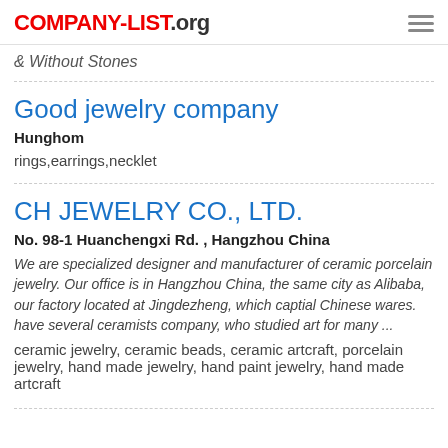COMPANY-LIST.org
& Without Stones
Good jewelry company
Hunghom
rings,earrings,necklet
CH JEWELRY CO., LTD.
No. 98-1 Huanchengxi Rd. , Hangzhou China
We are specialized designer and manufacturer of ceramic porcelain jewelry. Our office is in Hangzhou China, the same city as Alibaba, our factory located at Jingdezheng, which captial Chinese wares. have several ceramists company, who studied art for many ...
ceramic jewelry, ceramic beads, ceramic artcraft, porcelain jewelry, hand made jewelry, hand paint jewelry, hand made artcraft